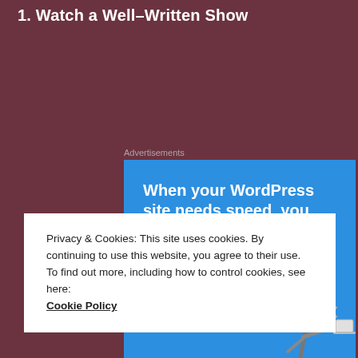1. Watch a Well-Written Show
Advertisements
[Figure (infographic): Pressable WordPress hosting advertisement on blue background with bold white text reading 'When your WordPress site needs speed, you need Pressable', a green divider line, and a silhouette of a person leaping with a laptop.]
Privacy & Cookies: This site uses cookies. By continuing to use this website, you agree to their use.
To find out more, including how to control cookies, see here:
Cookie Policy
Close and accept